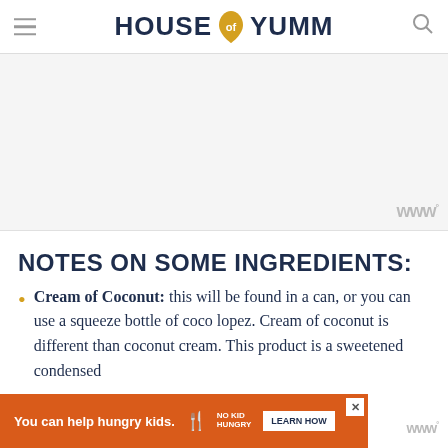HOUSE OF YUMM
[Figure (other): Light gray advertisement placeholder area with Mediavine watermark in bottom right corner]
NOTES ON SOME INGREDIENTS:
Cream of Coconut: this will be found in a can, or you can use a squeeze bottle of coco lopez. Cream of coconut is different than coconut cream. This product is a sweetened condensed
[Figure (other): Orange banner advertisement: 'You can help hungry kids.' No Kid Hungry with LEARN HOW button]